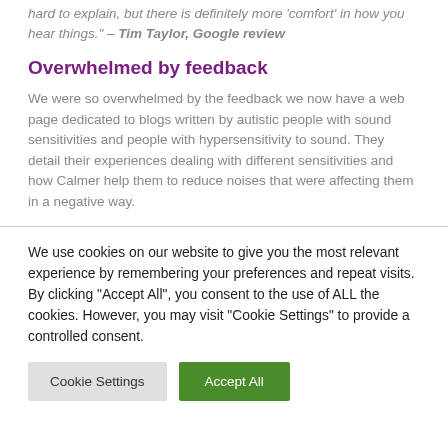hard to explain, but there is definitely more 'comfort' in how you hear things." – Tim Taylor, Google review
Overwhelmed by feedback
We were so overwhelmed by the feedback we now have a web page dedicated to blogs written by autistic people with sound sensitivities and people with hypersensitivity to sound. They detail their experiences dealing with different sensitivities and how Calmer help them to reduce noises that were affecting them in a negative way.
We use cookies on our website to give you the most relevant experience by remembering your preferences and repeat visits. By clicking "Accept All", you consent to the use of ALL the cookies. However, you may visit "Cookie Settings" to provide a controlled consent.